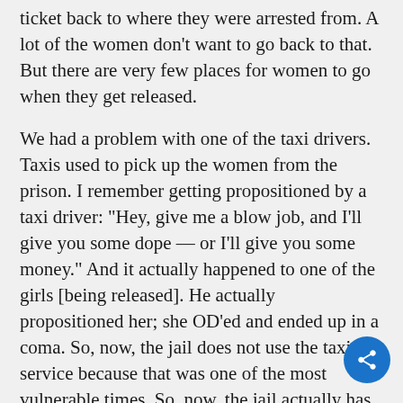ticket back to where they were arrested from. A lot of the women don't want to go back to that. But there are very few places for women to go when they get released.
We had a problem with one of the taxi drivers. Taxis used to pick up the women from the prison. I remember getting propositioned by a taxi driver: "Hey, give me a blow job, and I'll give you some dope — or I'll give you some money." And it actually happened to one of the girls [being released]. He actually propositioned her; she OD'ed and ended up in a coma. So, now, the jail does not use the taxi service because that was one of the most vulnerable times. So, now, the jail actually has an officer who drives them up to the bus depot.